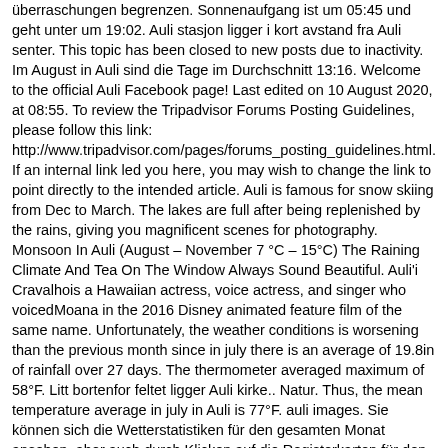überraschungen begrenzen. Sonnenaufgang ist um 05:45 und geht unter um 19:02. Auli stasjon ligger i kort avstand fra Auli senter. This topic has been closed to new posts due to inactivity. Im August in Auli sind die Tage im Durchschnitt 13:16. Welcome to the official Auli Facebook page! Last edited on 10 August 2020, at 08:55. To review the Tripadvisor Forums Posting Guidelines, please follow this link: http://www.tripadvisor.com/pages/forums_posting_guidelines.html. If an internal link led you here, you may wish to change the link to point directly to the intended article. Auli is famous for snow skiing from Dec to March. The lakes are full after being replenished by the rains, giving you magnificent scenes for photography. Monsoon In Auli (August – November 7 °C – 15°C) The Raining Climate And Tea On The Window Always Sound Beautiful. Auli'i Cravalhois a Hawaiian actress, voice actress, and singer who voicedMoana in the 2016 Disney animated feature film of the same name. Unfortunately, the weather conditions is worsening than the previous month since in july there is an average of 19.8in of rainfall over 27 days. The thermometer averaged maximum of 58°F. Litt bortenfor feltet ligger Auli kirke.. Natur. Thus, the mean temperature average in july in Auli is 77°F. auli images. Sie können sich die Wetterstatistiken für den gesamten Monat ansehen, aber auch durch Klicken auf die Registerkarten für den Anfang, die Mitte und das Monatsende. Sie können sich die Wetterstatistiken für den gesamten Monat ansehen, aber auch durch Klicken auf die Registerkarten für den Anfang, die Mitte und das Monatsende. Demzufolge beträgt die